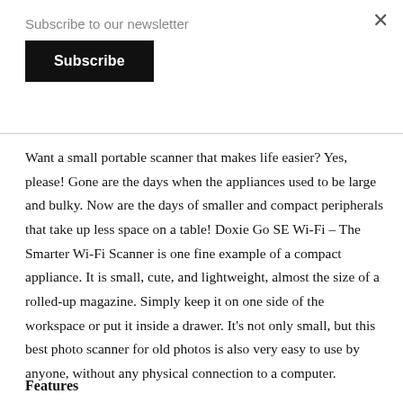×
Subscribe to our newsletter
Subscribe
Want a small portable scanner that makes life easier? Yes, please! Gone are the days when the appliances used to be large and bulky. Now are the days of smaller and compact peripherals that take up less space on a table! Doxie Go SE Wi-Fi – The Smarter Wi-Fi Scanner is one fine example of a compact appliance. It is small, cute, and lightweight, almost the size of a rolled-up magazine. Simply keep it on one side of the workspace or put it inside a drawer. It's not only small, but this best photo scanner for old photos is also very easy to use by anyone, without any physical connection to a computer.
Features